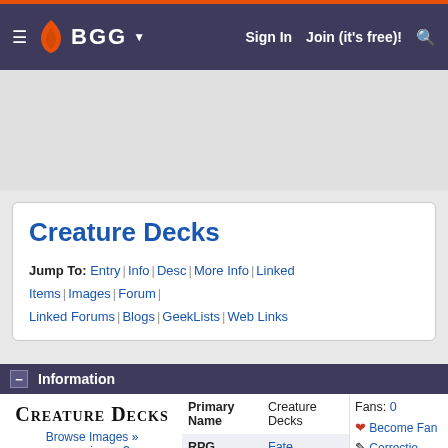BGG — Sign In | Join (it's free)!
Creature Decks
Jump To: Entry | Info | Desc | More Info | Linked Items | Images | Forum | Linked Forums | Blogs | GeekLists | Web Links
Information
[Figure (logo): Creature Decks logo in serif small-caps font]
Browse Images »
wrong image?
| Field | Value |
| --- | --- |
| Primary Name | Creature Decks |
| RPG Families | Fate |
| RPGs | 5e Game System Product (D&D 5th Edition Compatible)
D&D 5E |